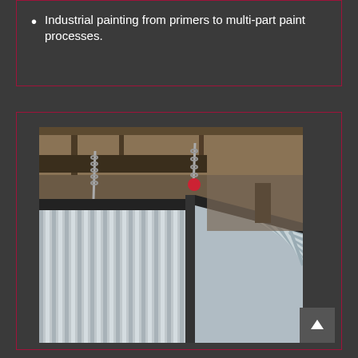Industrial painting from primers to multi-part paint processes.
[Figure (photo): Industrial photo of a large corrugated metal panel or structure being lifted by chains and a red hook in a manufacturing facility. Two metal panels meet at a corner. The facility interior with beams and lighting is visible in the background.]